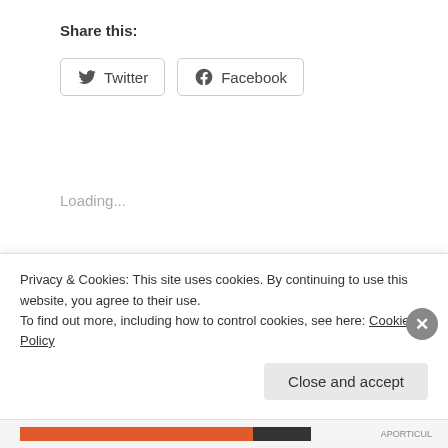Share this:
[Figure (other): Twitter and Facebook share buttons]
Loading...
Related
Former DIA Chief Michael Flynn Says Rise of Islamic State...
ISIS as U.S. Creation: The Clearest Authenticated Video...
Privacy & Cookies: This site uses cookies. By continuing to use this website, you agree to their use. To find out more, including how to control cookies, see here: Cookie Policy
Close and accept